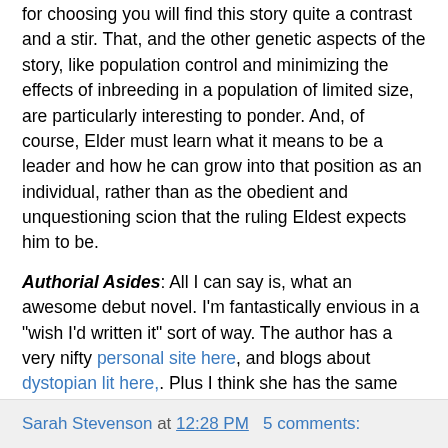for choosing you will find this story quite a contrast and a stir. That, and the other genetic aspects of the story, like population control and minimizing the effects of inbreeding in a population of limited size, are particularly interesting to ponder. And, of course, Elder must learn what it means to be a leader and how he can grow into that position as an individual, rather than as the obedient and unquestioning scion that the ruling Eldest expects him to be.
Authorial Asides: All I can say is, what an awesome debut novel. I'm fantastically envious in a "wish I'd written it" sort of way. The author has a very nifty personal site here, and blogs about dystopian lit here,. Plus I think she has the same agent as Neil Gaiman. Talk about wow! (Says the girl who, at this point, is basically jealous of ANYONE with an agent.)
You can find Across the Universe at an independent bookstore near you!
Sarah Stevenson at 12:28 PM   5 comments: